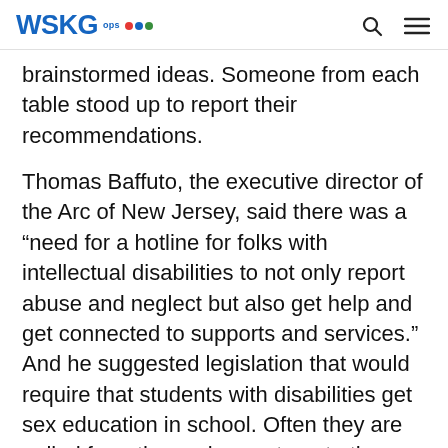WSKG PBS
brainstormed ideas. Someone from each table stood up to report their recommendations.
Thomas Baffuto, the executive director of the Arc of New Jersey, said there was a “need for a hotline for folks with intellectual disabilities to not only report abuse and neglect but also get help and get connected to supports and services.” And he suggested legislation that would require that students with disabilities get sex education in school. Often they are pulled from those classes to get other services, or because it’s assumed they can’t understand the discussion. “We think schools have to require more sex education, not less,” Baffuto added.